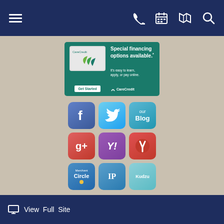Navigation bar with hamburger menu, phone, calendar, map, and search icons
[Figure (infographic): CareCredit advertisement banner: Special financing options available. Get Started button. It's easy to learn, apply, or pay online. CareCredit logo.]
[Figure (infographic): Social media icons grid: Facebook, Twitter, Blog (row 1); Google+, Yahoo, Yelp (row 2); Merchant Circle, IP, Kudzu (row 3)]
View Full Site
Copyright © 2022 MH Sub I, LLC dba Officite   Disclaimer   Patient Privacy   Site Map